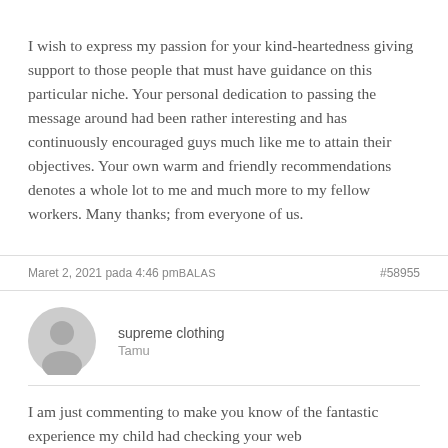I wish to express my passion for your kind-heartedness giving support to those people that must have guidance on this particular niche. Your personal dedication to passing the message around had been rather interesting and has continuously encouraged guys much like me to attain their objectives. Your own warm and friendly recommendations denotes a whole lot to me and much more to my fellow workers. Many thanks; from everyone of us.
Maret 2, 2021 pada 4:46 pmBALAS	#58955
supreme clothing
Tamu
I am just commenting to make you know of the fantastic experience my child had checking your web